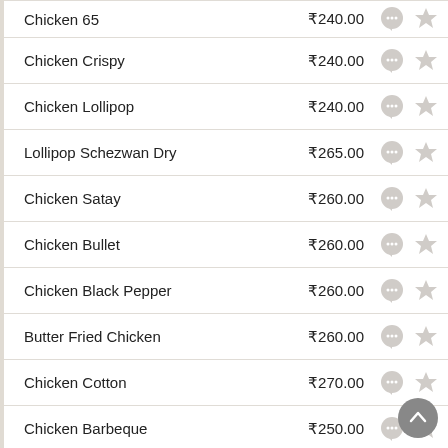Chicken 65 | ₹240.00
Chicken Crispy | ₹240.00
Chicken Lollipop | ₹240.00
Lollipop Schezwan Dry | ₹265.00
Chicken Satay | ₹260.00
Chicken Bullet | ₹260.00
Chicken Black Pepper | ₹260.00
Butter Fried Chicken | ₹260.00
Chicken Cotton | ₹270.00
Chicken Barbeque | ₹250.00
Crispy Chicken Fingers | ₹250.00
Chicken HongKong Dry (Bone) | ₹250.00